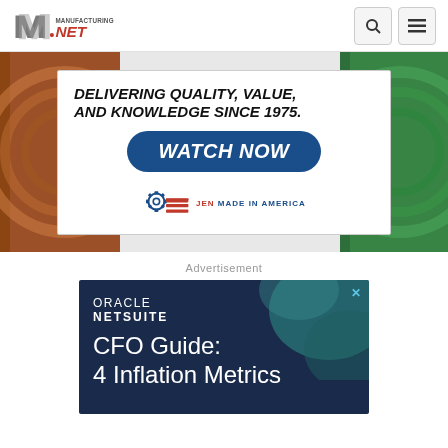Manufacturing.net — navigation header with search and menu icons
[Figure (infographic): Advertisement banner: 'DELIVERING QUALITY, VALUE, AND KNOWLEDGE SINCE 1975. WATCH NOW' with JEN Made in America logo. Background shows industrial wire spools (orange left, green right).]
Advertisement
[Figure (infographic): Oracle NetSuite advertisement: 'CFO Guide: 4 Inflation Metrics' with dark navy background and teal abstract shapes.]